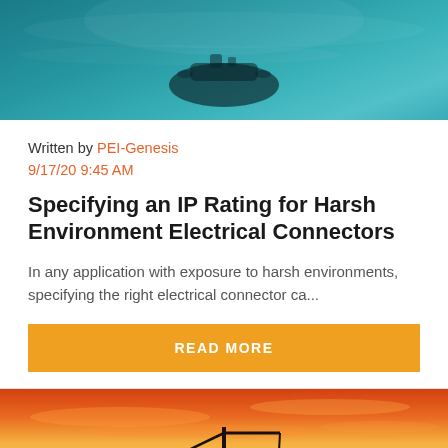[Figure (photo): Underwater scene with dark teal/blue background, appears to show an underwater vehicle or diver silhouette]
Written by PEI-Genesis
9/17/20 9:45 AM
Specifying an IP Rating for Harsh Environment Electrical Connectors
In any application with exposure to harsh environments, specifying the right electrical connector ca...
READ MORE
[Figure (photo): Sunset/golden sky background with orange and pink hues; crane and industrial structure silhouettes at bottom]